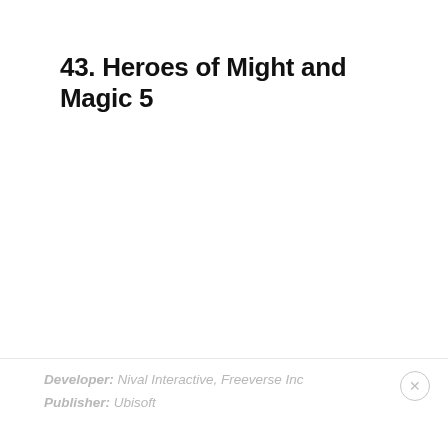43. Heroes of Might and Magic 5
Developer: Nival Interactive, Freeverse Inc
Publisher: Ubisoft